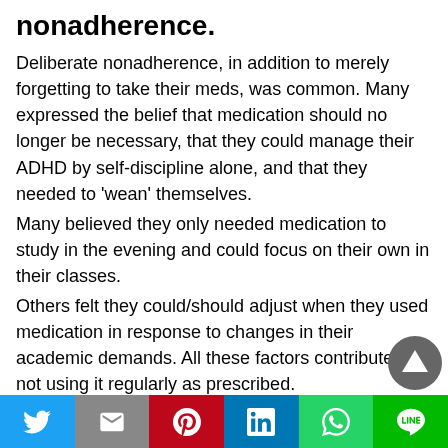nonadherence.
Deliberate nonadherence, in addition to merely forgetting to take their meds, was common. Many expressed the belief that medication should no longer be necessary, that they could manage their ADHD by self-discipline alone, and that they needed to 'wean' themselves.
Many believed they only needed medication to study in the evening and could focus on their own in their classes.
Others felt they could/should adjust when they used medication in response to changes in their academic demands. All these factors contributed to not using it regularly as prescribed.